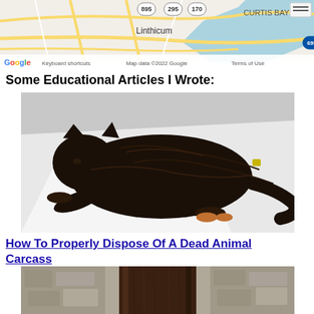[Figure (map): Google Maps screenshot showing Curtis Bay area near Linthicum, Baltimore, with highway routes 895, 295, 170, 695 visible. Shows 'Keyboard shortcuts', 'Map data ©2022 Google', 'Terms of Use' in bottom bar.]
Some Educational Articles I Wrote:
[Figure (photo): Photo of a dead black kitten lying on a white surface/cloth.]
How To Properly Dispose Of A Dead Animal Carcass
[Figure (photo): Partial photo showing what appears to be masonry or concrete architecture, possibly a building foundation or wall detail.]